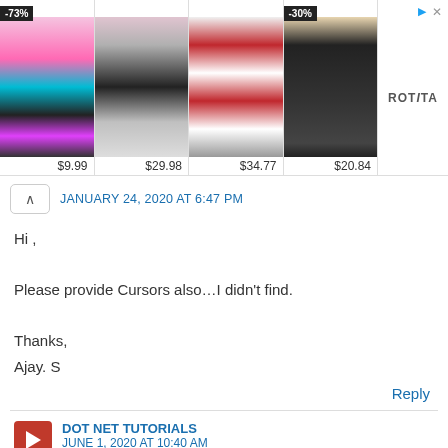[Figure (other): Advertisement banner with 4 clothing items: -73% $9.99, $29.98, $34.77, -30% $20.84, ROTITA brand logo]
JANUARY 24, 2020 AT 6:47 PM
Hi ,

Please provide Cursors also…I didn't find.

Thanks,
Ajay. S
Reply
DOT NET TUTORIALS
JUNE 1, 2020 AT 10:40 AM
Hey, Very soon we will add cursors concept.
Reply